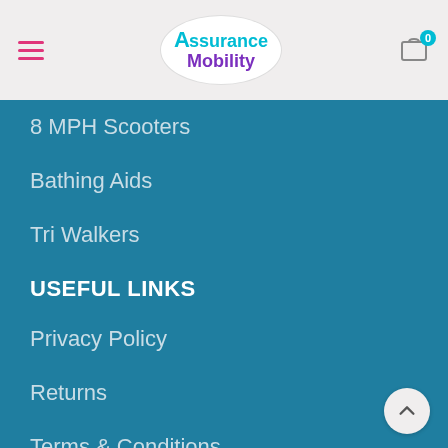Assurance Mobility — navigation header with hamburger menu and cart icon showing 0 items
8 MPH Scooters
Bathing Aids
Tri Walkers
USEFUL LINKS
Privacy Policy
Returns
Terms & Conditions
Contact Us
Latest News